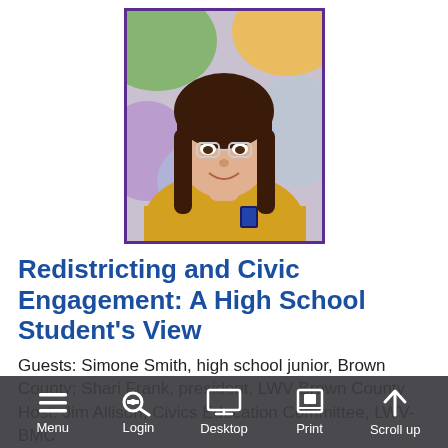[Figure (photo): Portrait photo of a young woman with long brown hair and glasses, wearing a yellow shirt, against a colorful painted background. Photo has a purple border.]
Redistricting and Civic Engagement: A High School Student's View
Guests: Simone Smith, high school junior, Brown County; Shari Frank, president, LWV Brown County Host: Jim Allison, Civics Education Committee, LWV-BMC
October 8, 2021